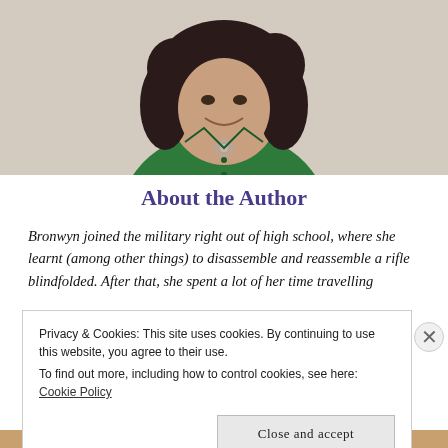[Figure (photo): Portrait photo of a smiling woman with curly dark hair, wearing a green short-sleeve button-up shirt and a silver necklace, against a light background.]
About the Author
Bronwyn joined the military right out of high school, where she learnt (among other things) to disassemble and reassemble a rifle blindfolded. After that, she spent a lot of her time travelling
Privacy & Cookies: This site uses cookies. By continuing to use this website, you agree to their use.
To find out more, including how to control cookies, see here: Cookie Policy
Close and accept